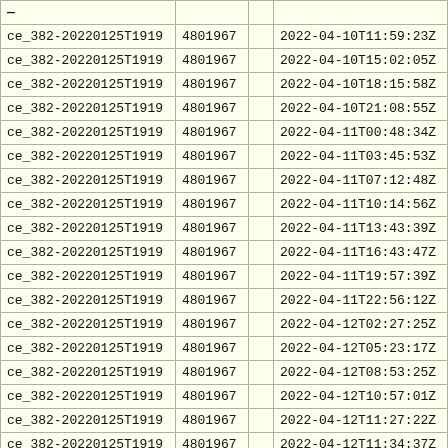| — |  |  |  |
| --- | --- | --- | --- |
| ce_382-20220125T1919 | 4801967 |  | 2022-04-10T11:59:23Z |
| ce_382-20220125T1919 | 4801967 |  | 2022-04-10T15:02:05Z |
| ce_382-20220125T1919 | 4801967 |  | 2022-04-10T18:15:58Z |
| ce_382-20220125T1919 | 4801967 |  | 2022-04-10T21:08:55Z |
| ce_382-20220125T1919 | 4801967 |  | 2022-04-11T00:48:34Z |
| ce_382-20220125T1919 | 4801967 |  | 2022-04-11T03:45:53Z |
| ce_382-20220125T1919 | 4801967 |  | 2022-04-11T07:12:48Z |
| ce_382-20220125T1919 | 4801967 |  | 2022-04-11T10:14:56Z |
| ce_382-20220125T1919 | 4801967 |  | 2022-04-11T13:43:39Z |
| ce_382-20220125T1919 | 4801967 |  | 2022-04-11T16:43:47Z |
| ce_382-20220125T1919 | 4801967 |  | 2022-04-11T19:57:39Z |
| ce_382-20220125T1919 | 4801967 |  | 2022-04-11T22:56:12Z |
| ce_382-20220125T1919 | 4801967 |  | 2022-04-12T02:27:25Z |
| ce_382-20220125T1919 | 4801967 |  | 2022-04-12T05:23:17Z |
| ce_382-20220125T1919 | 4801967 |  | 2022-04-12T08:53:25Z |
| ce_382-20220125T1919 | 4801967 |  | 2022-04-12T10:57:01Z |
| ce_382-20220125T1919 | 4801967 |  | 2022-04-12T11:27:22Z |
| ce_382-20220125T1919 | 4801967 |  | 2022-04-12T11:34:37Z |
| ce_382-20220125T1919 | 4801967 |  | 2022-04-12T13:00:31Z |
| ce_382-20220125T1919 | 4801967 |  | 2022-04-12T15:07:18Z |